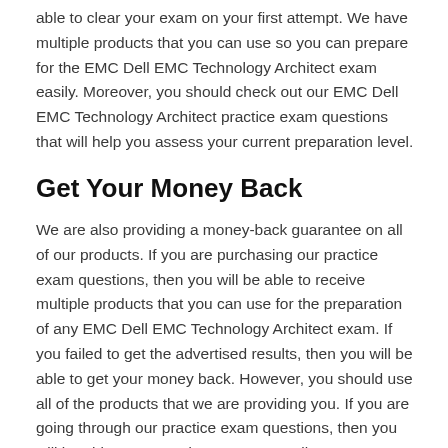able to clear your exam on your first attempt. We have multiple products that you can use so you can prepare for the EMC Dell EMC Technology Architect exam easily. Moreover, you should check out our EMC Dell EMC Technology Architect practice exam questions that will help you assess your current preparation level.
Get Your Money Back
We are also providing a money-back guarantee on all of our products. If you are purchasing our practice exam questions, then you will be able to receive multiple products that you can use for the preparation of any EMC Dell EMC Technology Architect exam. If you failed to get the advertised results, then you will be able to get your money back. However, you should use all of the products that we are providing you. If you are going through our practice exam questions, then you will be able to succeed at any EMC Dell EMC Technology Architect exam. You can go